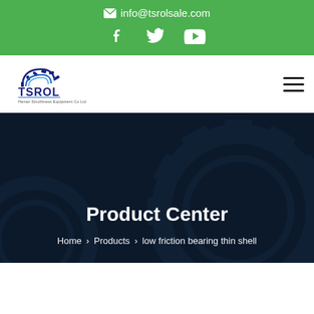info@tsrolsale.com
[Figure (logo): TSROL company logo with gear icon and text 'TSROL' and subtitle 'Henan Sinofitness Equipment Co Ltd']
Product Center
Home > Products > low friction bearing thin shell